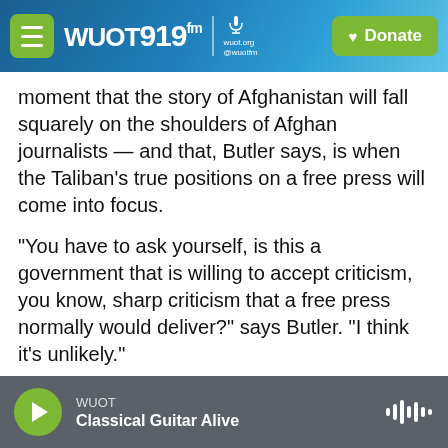WUOT 91.9 FM | Donate
moment that the story of Afghanistan will fall squarely on the shoulders of Afghan journalists — and that, Butler says, is when the Taliban's true positions on a free press will come into focus.
"You have to ask yourself, is this a government that is willing to accept criticism, you know, sharp criticism that a free press normally would deliver?" says Butler. "I think it's unlikely."
Fazelminallah Qazizai reported from Kabul.
Copyright 2021 NPR. To see more, visit https://www.npr.org
WUOT Classical Guitar Alive